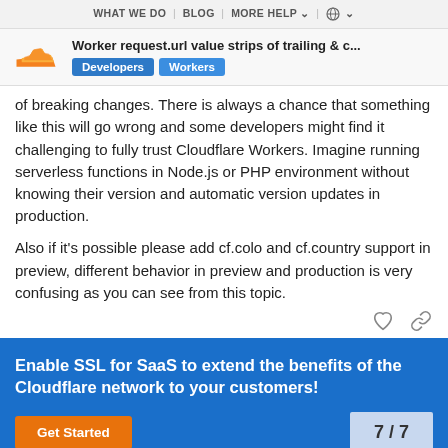WHAT WE DO | BLOG | MORE HELP | 🌐
Worker request.url value strips of trailing & c...
Developers   Workers
of breaking changes. There is always a chance that something like this will go wrong and some developers might find it challenging to fully trust Cloudflare Workers. Imagine running serverless functions in Node.js or PHP environment without knowing their version and automatic version updates in production.

Also if it's possible please add cf.colo and cf.country support in preview, different behavior in preview and production is very confusing as you can see from this topic.
[Figure (infographic): Enable SSL for SaaS to extend the benefits of the Cloudflare network to your customers! Get Started button and page indicator 7/7]